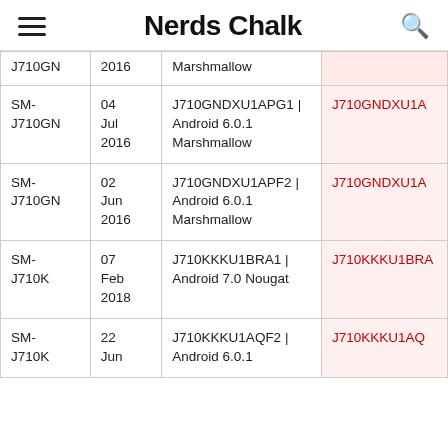Nerds Chalk
| Model | Date | Firmware / Android | Download |
| --- | --- | --- | --- |
| J710GN | 2016 | Marshmallow |  |
| SM-J710GN | 04 Jul 2016 | J710GNDXU1APG1 | Android 6.0.1 Marshmallow | J710GNDXU1A… |
| SM-J710GN | 02 Jun 2016 | J710GNDXU1APF2 | Android 6.0.1 Marshmallow | J710GNDXU1A… |
| SM-J710K | 07 Feb 2018 | J710KKKU1BRA1 | Android 7.0 Nougat | J710KKKU1BRA… |
| SM-J710K | 22 Jun | J710KKKU1AQF2 | Android 6.0.1 | J710KKKU1AQ… |